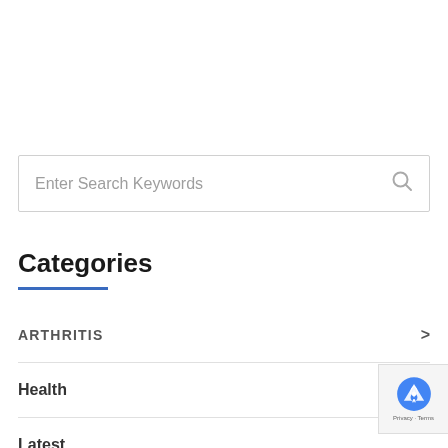Enter Search Keywords
Categories
ARTHRITIS
Health
Latest